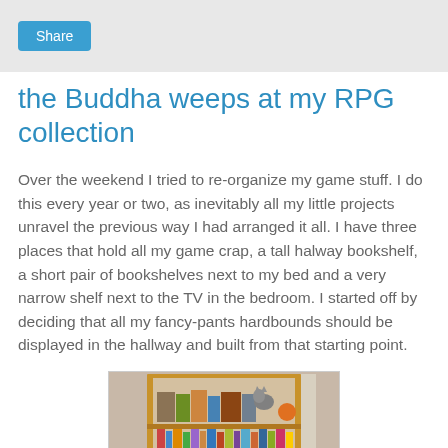Share
the Buddha weeps at my RPG collection
Over the weekend I tried to re-organize my game stuff. I do this every year or two, as inevitably all my little projects unravel the previous way I had arranged it all. I have three places that hold all my game crap, a tall halway bookshelf, a short pair of bookshelves next to my bed and a very narrow shelf next to the TV in the bedroom. I started off by deciding that all my fancy-pants hardbounds should be displayed in the hallway and built from that starting point.
[Figure (photo): Photo of a wooden bookshelf filled with books and game materials, with a cat sitting on the top shelf next to an orange ball.]